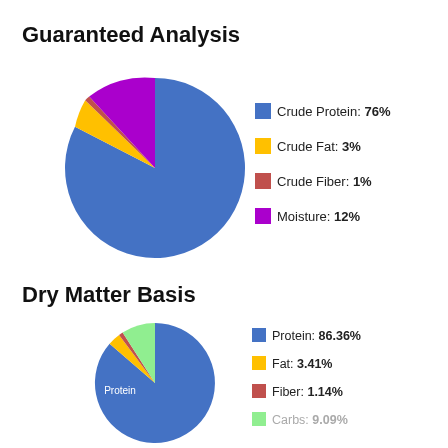Guaranteed Analysis
[Figure (pie-chart): Guaranteed Analysis]
Dry Matter Basis
[Figure (pie-chart): Dry Matter Basis]